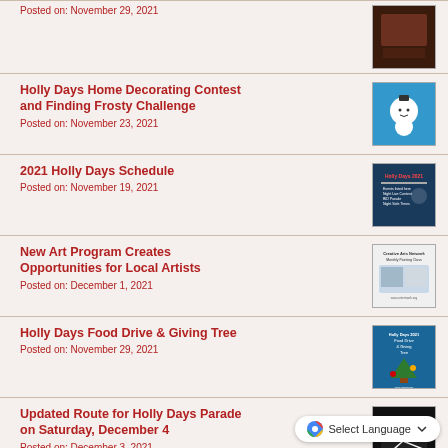Posted on: November 29, 2021
[Figure (screenshot): Thumbnail image for a news item]
Holly Days Home Decorating Contest and Finding Frosty Challenge
Posted on: November 23, 2021
[Figure (screenshot): Thumbnail with snowman graphic for Holly Days Home Decorating Contest]
2021 Holly Days Schedule
Posted on: November 19, 2021
[Figure (screenshot): Thumbnail with Holly Days 2021 schedule flyer]
New Art Program Creates Opportunities for Local Artists
Posted on: December 1, 2021
[Figure (screenshot): Thumbnail for Creative Arts Network Monthly Painting Class flyer]
Holly Days Food Drive & Giving Tree
Posted on: November 29, 2021
[Figure (screenshot): Thumbnail for Holly Days 2021 Food Drive and Giving Tree flyer]
Updated Route for Holly Days Parade on Saturday, December 4
Posted on: December 3, 2021
[Figure (screenshot): Thumbnail for Holly Days Parade route flyer]